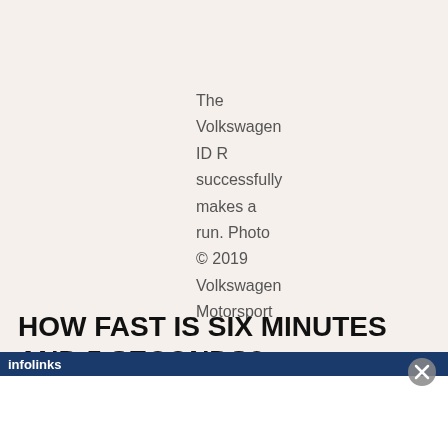The Volkswagen ID R successfully makes a run. Photo © 2019 Volkswagen Motorsport
HOW FAST IS SIX MINUTES AND 5 SECONDS?
[Figure (other): Infolinks advertisement bar with close button]